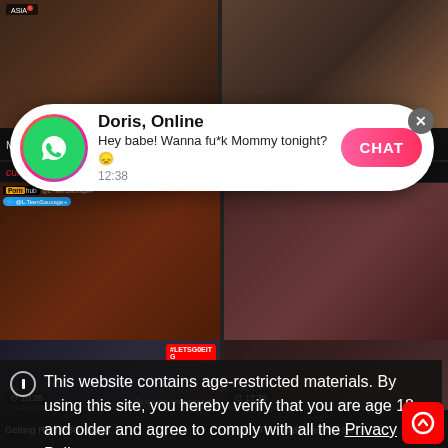[Figure (screenshot): Screenshot of an adult content website with video thumbnails, a WhatsApp-style notification popup from 'Doris, Online' saying 'Hey babe! Wanna fu*k Mommy tonight?' with a CHAT button, red tag links below top thumbnails, an age restriction notice overlay, and a cookie policy notice.]
Doris, Online
Hey babe! Wanna fu*k Mommy tonight?😞
12:38
CHAT
cum inside, cum licking, fuck pu...   my, ass, amatoritale, anal hard
This website contains age-restricted materials. By using this site, you hereby verify that you are age 18 and older and agree to comply with all the Privacy Policy.
We use cookies to provide you the best possible experience on our website and to monitor website traffic. Cookies Policy.
2 girls, big butt, dick, pussy, teen, teen...   pussy, wet blow...
10:28
17:30